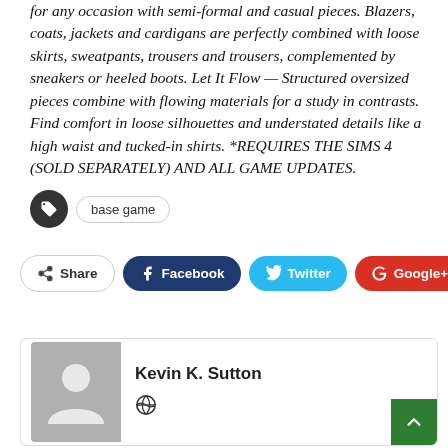for any occasion with semi-formal and casual pieces. Blazers, coats, jackets and cardigans are perfectly combined with loose skirts, sweatpants, trousers and trousers, complemented by sneakers or heeled boots. Let It Flow — Structured oversized pieces combine with flowing materials for a study in contrasts. Find comfort in loose silhouettes and understated details like a high waist and tucked-in shirts. *REQUIRES THE SIMS 4 (SOLD SEPARATELY) AND ALL GAME UPDATES.
base game
[Figure (infographic): Social share buttons row: Share, Facebook, Twitter, Google+, and a plus button]
[Figure (infographic): Author card with avatar placeholder for Kevin K. Sutton with a globe icon]